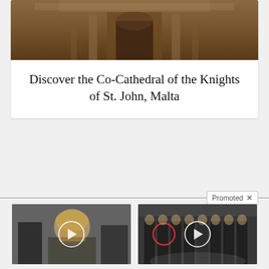[Figure (photo): Photo of ornate stone cathedral facade with arched entrance and columns, warm brown tones]
Discover the Co-Cathedral of the Knights of St. John, Malta
Promoted X
[Figure (photo): Thumbnail of Hillary Clinton at a public event with play button overlay]
Top Democrats Fear This Video Getting Out — Watch Now Before It's Banned
70,157
[Figure (photo): Thumbnail of group of men in suits at CIA building with a man circled in red and play button overlay]
Biden Probably Wants This Video Destroyed — Massive Currency Upheaval Has Started
207,321